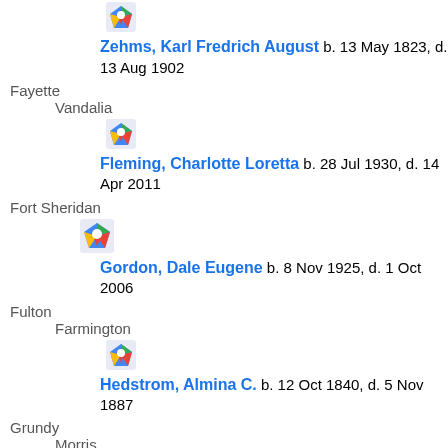[Figure (other): Google Maps icon]
Zehms, Karl Fredrich August b. 13 May 1823, d. 13 Aug 1902
Fayette
Vandalia
[Figure (other): Google Maps icon]
Fleming, Charlotte Loretta b. 28 Jul 1930, d. 14 Apr 2011
Fort Sheridan
[Figure (other): Google Maps icon]
Gordon, Dale Eugene b. 8 Nov 1925, d. 1 Oct 2006
Fulton
Farmington
[Figure (other): Google Maps icon]
Hedstrom, Almina C. b. 12 Oct 1840, d. 5 Nov 1887
Grundy
Morris
[Figure (other): Google Maps icon]
Cummings, Effie Hull b. 1 Dec 1881, d. 9 Apr 1958